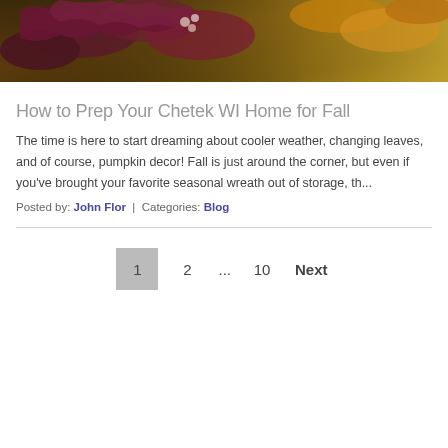[Figure (photo): Autumn foliage with dark red/purple maple leaves and yellow-orange leaves in the background]
How to Prep Your Chetek WI Home for Fall
The time is here to start dreaming about cooler weather, changing leaves, and of course, pumpkin decor! Fall is just around the corner, but even if you've brought your favorite seasonal wreath out of storage, th...
Posted by: John Flor | Categories: Blog